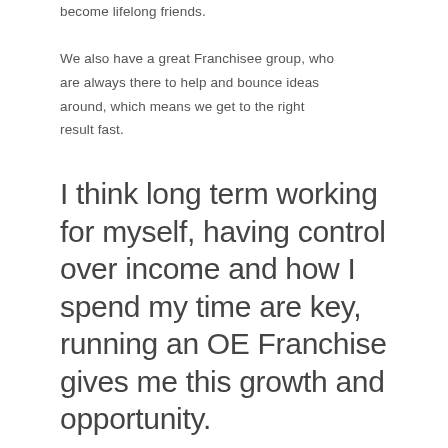become lifelong friends.
We also have a great Franchisee group, who are always there to help and bounce ideas around, which means we get to the right result fast.
I think long term working for myself, having control over income and how I spend my time are key, running an OE Franchise gives me this growth and opportunity.